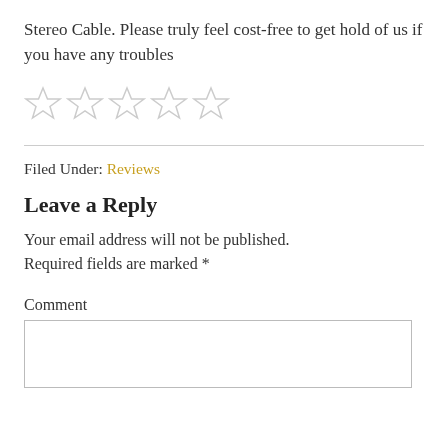Stereo Cable. Please truly feel cost-free to get hold of us if you have any troubles
[Figure (other): Five empty star rating icons in a row]
Filed Under: Reviews
Leave a Reply
Your email address will not be published. Required fields are marked *
Comment
[Figure (other): Empty comment text area input box]